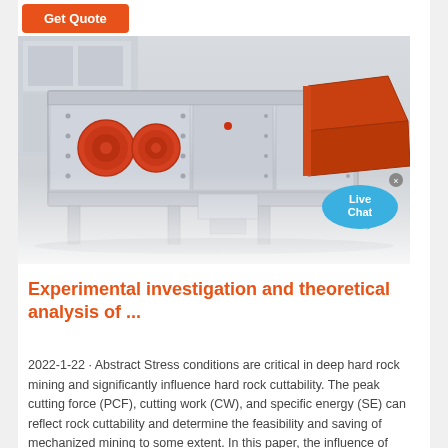[Figure (photo): Industrial vibrating screen / mining equipment machine - white and red large mechanical screening unit with red cylindrical vibrators and orange hopper, photographed from the side]
Experimental investigation and theoretical analysis of ...
2022-1-22 · Abstract Stress conditions are critical in deep hard rock mining and significantly influence hard rock cuttability. The peak cutting force (PCF), cutting work (CW), and specific energy (SE) can reflect rock cuttability and determine the feasibility and saving of mechanized mining to some extent. In this paper, the influence of uniaxial lateral stress on rock cuttability …Wyoming State Geological